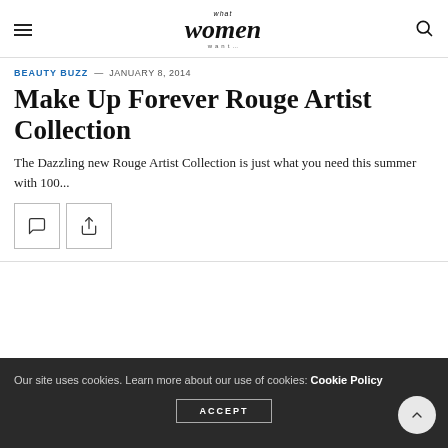what women want — navigation header with hamburger menu and search icon
BEAUTY BUZZ — JANUARY 8, 2014
Make Up Forever Rouge Artist Collection
The Dazzling new Rouge Artist Collection is just what you need this summer with 100...
[Figure (other): Comment icon button and share icon button]
Our site uses cookies. Learn more about our use of cookies: Cookie Policy
ACCEPT